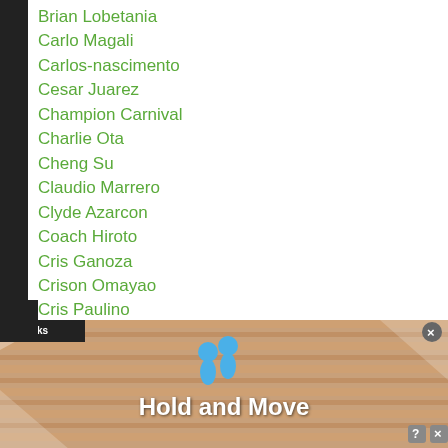Brian Lobetania
Carlo Magali
Carlos-nascimento
Cesar Juarez
Champion Carnival
Charlie Ota
Cheng Su
Claudio Marrero
Clyde Azarcon
Coach Hiroto
Cris Ganoza
Crison Omayao
Cris Paulino
Cristiano Aoqui
Cristiano Aoqui Vs Daishi Nagata
Cruiserweight
[Figure (screenshot): Infolinks advertisement banner showing 'Hold and Move' with blue figure icons on a wood-patterned background with close and question mark controls]